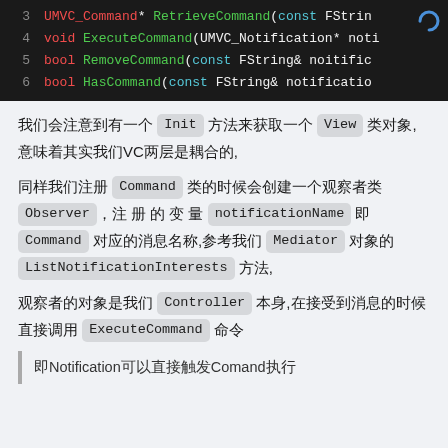[Figure (screenshot): Dark-themed code block showing lines 3-6 of C++ code with syntax highlighting. Line 3: UMVC_Command* RetrieveCommand(const FStrin... Line 4: void ExecuteCommand(UMVC_Notification* noti... Line 5: bool RemoveCommand(const FString& noitific... Line 6: bool HasCommand(const FString& notificatio...]
我们会注意到有一个 Init 方法来获取一个 View 类对象,意味着其实我们VC两层是耦合的,
同样我们注册 Command 类的时候会创建一个观察者类 Observer，注册的变量 notificationName 即 Command 对应的消息名称,参考我们 Mediator 对象的 ListNotificationInterests 方法,
观察者的对象是我们 Controller 本身,在接受到消息的时候直接调用 ExecuteCommand 命令
即Notification可以直接触发Comand执行